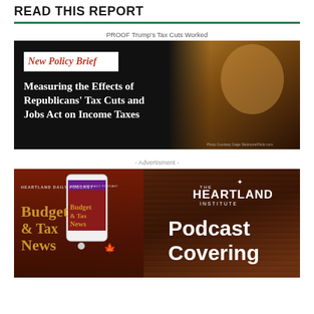READ THIS REPORT
PROOF Trump's Tax Cuts Worked
[Figure (illustration): Policy brief banner: 'New Policy Brief - Measuring the Effects of Republicans' Tax Cuts and Jobs Act on Income Taxes' with image of Trump on dark background]
- Advertisment -
[Figure (illustration): Heartland Institute advertisement for Budget & Tax News Heartland Daily Podcast - 'Podcast Covering...' with phone mockup on wood-textured background]